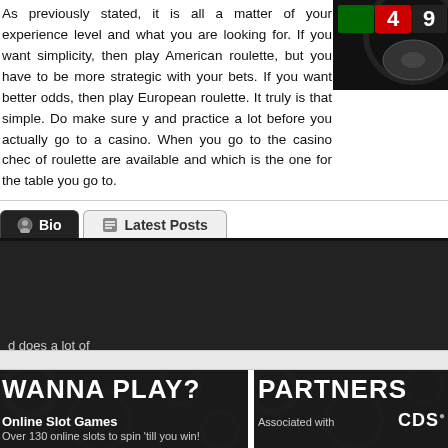As previously stated, it is all a matter of your experience level and what you are looking for. If you want simplicity, then play American roulette, but you have to be more strategic with your bets. If you want better odds, then play European roulette. It truly is that simple. Do make sure y and practice a lot before you actually go to a casino. When you go to the casino chec of roulette are available and which is the one for the table you go to.
[Figure (photo): Roulette wheel close-up showing numbers 4 and 9 in red and black]
Bio | Latest Posts
d does a lot of which she has as Vegas ready
WANNA PLAY?
Online Slot Games
Over 130 online slots to spin 'till you win!
PARTNERS
Associated with
CDS